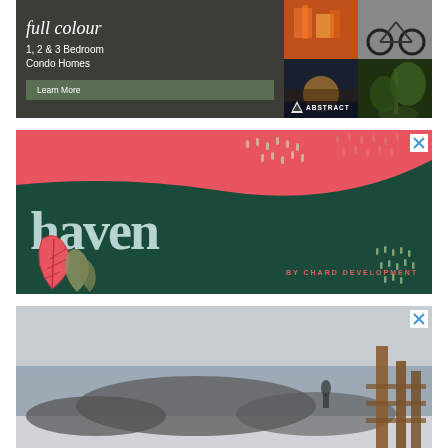[Figure (illustration): Abstract Developments advertisement: dark olive/grey background with italic 'full colour' heading, '1, 2 & 3 Bedroom Condo Homes' text, 'Learn More' button, and photo grid of construction/bicycle/sunset/plant images with Abstract Developments logo]
[Figure (illustration): Haven by Chard Development advertisement: dark teal/green background with coral pink wave at top, large serif 'haven' text in pale blue, 'BY CHARD DEVELOPMENT' in coral, decorative leaves at bottom left, dot patterns, and close button]
[Figure (photo): Third advertisement partially visible: coastal landscape photo with rocky shore and wooden structure, close button in top right corner]